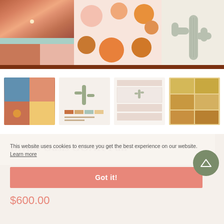[Figure (photo): Top gallery area showing desert canyon texture with pink/terracotta tones, color swatches in teal, terracotta and blush, moon phase spheres on pink background, and cactus on cream background]
[Figure (photo): Row of four thumbnail images: mood board collage, brand style guide with cactus, website mockup in blush tones, grid layout with golden tones]
This website uses cookies to ensure you get the best experience on our website.
Learn more
Divine Oasis GOAK Full
Premade Brand
$600.00
Got it!